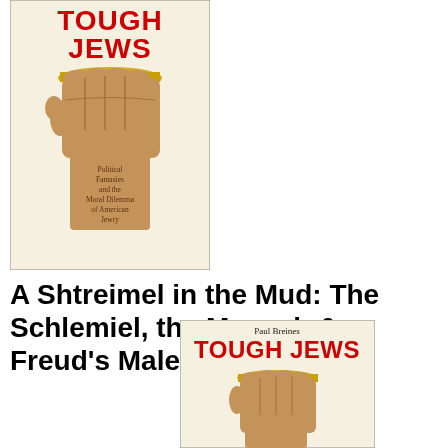[Figure (illustration): Book cover of 'Tough Jews' by Paul Breines showing a raised fist with brass knuckles. Text on cover reads 'TOUGH JEWS' in red at top, with subtitle 'Political Fantasies and the Moral Dilemma of American Jewry' in brown text on the fist. Cream/beige background.]
A Shtreimel in the Mud: The Schlemiel, the Mensch & Freud's Male Fantasies
[Figure (illustration): Second book cover of 'Tough Jews' by Paul Breines showing similar raised fist with brass knuckles. 'Paul Breines' in dark text at top, 'TOUGH JEWS' in large red letters, with fist image below on cream background.]